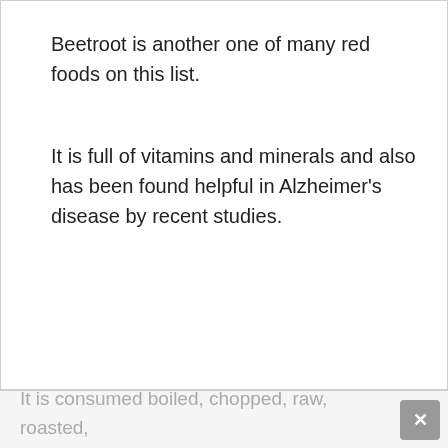Beetroot is another one of many red foods on this list.
It is full of vitamins and minerals and also has been found helpful in Alzheimer's disease by recent studies.
It is consumed boiled, chopped, raw, roasted,